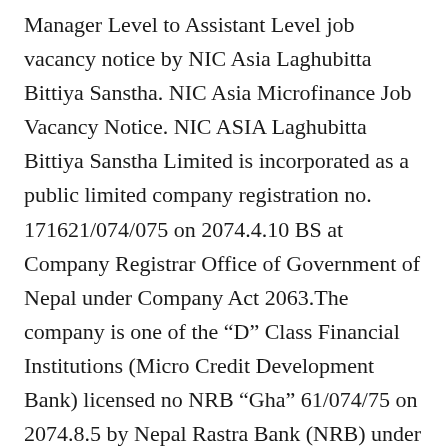Manager Level to Assistant Level job vacancy notice by NIC Asia Laghubitta Bittiya Sanstha. NIC Asia Microfinance Job Vacancy Notice. NIC ASIA Laghubitta Bittiya Sanstha Limited is incorporated as a public limited company registration no. 171621/074/075 on 2074.4.10 BS at Company Registrar Office of Government of Nepal under Company Act 2063.The company is one of the “D” Class Financial Institutions (Micro Credit Development Bank) licensed no NRB “Gha” 61/074/75 on 2074.8.5 by Nepal Rastra Bank (NRB) under the Bank and Financial Institution Act, 2063.The Bittiya Sanstha has commenced its financial transaction from 2074.9.5 BS.